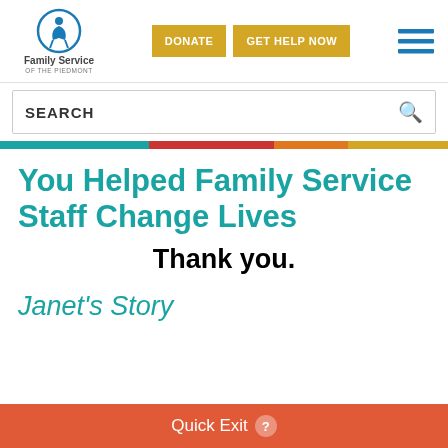[Figure (logo): Family Service of the Piedmont logo — circular emblem with person figure, blue circle border]
DONATE  GET HELP NOW  [hamburger menu]
SEARCH
You Helped Family Service Staff Change Lives
Thank you.
Janet's Story
Quick Exit ?